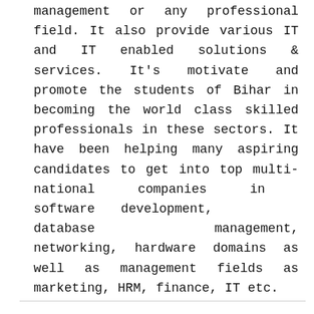management or any professional field. It also provide various IT and IT enabled solutions & services. It's motivate and promote the students of Bihar in becoming the world class skilled professionals in these sectors. It have been helping many aspiring candidates to get into top multi-national companies in software development, database management, networking, hardware domains as well as management fields as marketing, HRM, finance, IT etc.